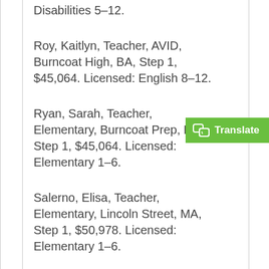Disabilities 5-12.
Roy, Kaitlyn, Teacher, AVID, Burncoat High, BA, Step 1, $45,064. Licensed: English 8-12.
Ryan, Sarah, Teacher, Elementary, Burncoat Prep, BA, Step 1, $45,064. Licensed: Elementary 1-6.
Salerno, Elisa, Teacher, Elementary, Lincoln Street, MA, Step 1, $50,978. Licensed: Elementary 1-6.